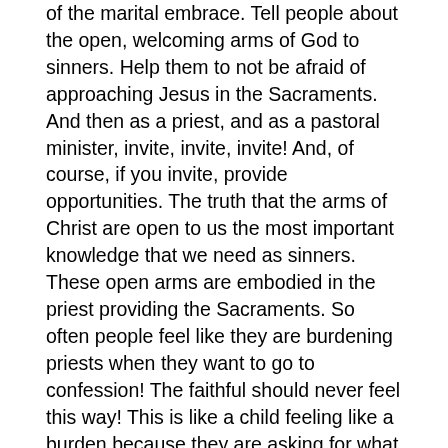of the marital embrace. Tell people about the open, welcoming arms of God to sinners. Help them to not be afraid of approaching Jesus in the Sacraments. And then as a priest, and as a pastoral minister, invite, invite, invite! And, of course, if you invite, provide opportunities. The truth that the arms of Christ are open to us the most important knowledge that we need as sinners. These open arms are embodied in the priest providing the Sacraments. So often people feel like they are burdening priests when they want to go to confession! The faithful should never feel this way! This is like a child feeling like a burden because they are asking for what they need.
We often hear about how St. John Vianney is the patron saint of priests. Yet we still have one hour for confession per week in most parishes. (How long was SJV in the confessional each week?). Jesus fulfilled the law by His very Presence. He fulfills the law in us by His very Presence, not through doctrine and preaching about mortal sin that is